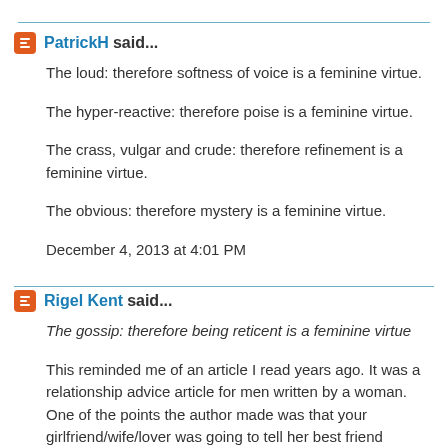PatrickH said...
The loud: therefore softness of voice is a feminine virtue.
The hyper-reactive: therefore poise is a feminine virtue.
The crass, vulgar and crude: therefore refinement is a feminine virtue.
The obvious: therefore mystery is a feminine virtue.
December 4, 2013 at 4:01 PM
Rigel Kent said...
The gossip: therefore being reticent is a feminine virtue
This reminded me of an article I read years ago. It was a relationship advice article for men written by a woman. One of the points the author made was that your girlfriend/wife/lover was going to tell her best friend